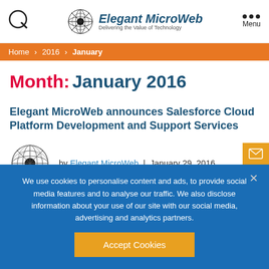Elegant MicroWeb — Delivering the Value of Technology
Home > 2016 > January
Month: January 2016
Elegant MicroWeb announces Salesforce Cloud Platform Development and Support Services
by Elegant MicroWeb | January 29, 2016
We use cookies to personalise content and ads, to provide social media features and to analyse our traffic. We also disclose information about your use of our site with our social media, advertising and analytics partners.
Accept Cookies